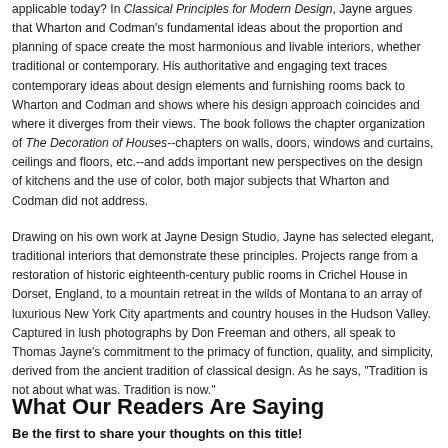applicable today? In Classical Principles for Modern Design, Jayne argues that Wharton and Codman's fundamental ideas about the proportion and planning of space create the most harmonious and livable interiors, whether traditional or contemporary. His authoritative and engaging text traces contemporary ideas about design elements and furnishing rooms back to Wharton and Codman and shows where his design approach coincides and where it diverges from their views. The book follows the chapter organization of The Decoration of Houses--chapters on walls, doors, windows and curtains, ceilings and floors, etc.--and adds important new perspectives on the design of kitchens and the use of color, both major subjects that Wharton and Codman did not address.
Drawing on his own work at Jayne Design Studio, Jayne has selected elegant, traditional interiors that demonstrate these principles. Projects range from a restoration of historic eighteenth-century public rooms in Crichel House in Dorset, England, to a mountain retreat in the wilds of Montana to an array of luxurious New York City apartments and country houses in the Hudson Valley. Captured in lush photographs by Don Freeman and others, all speak to Thomas Jayne's commitment to the primacy of function, quality, and simplicity, derived from the ancient tradition of classical design. As he says, "Tradition is not about what was. Tradition is now."
What Our Readers Are Saying
Be the first to share your thoughts on this title!